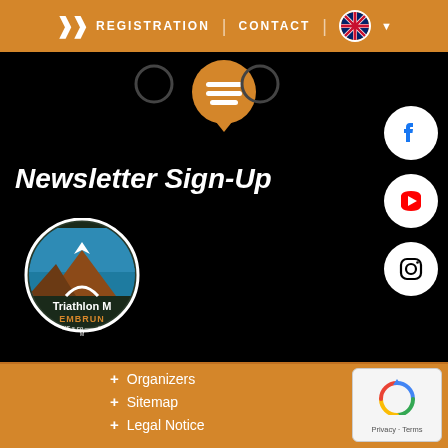REGISTRATION | CONTACT | [language selector]
Newsletter Sign-Up
[Figure (logo): Triathlon M Embrun logo with mountain and water design]
[Figure (illustration): Social media icons: Facebook, YouTube, Instagram (white circles on black)]
+ Organizers
+ Sitemap
+ Legal Notice
[Figure (other): reCAPTCHA badge with Privacy - Terms text]